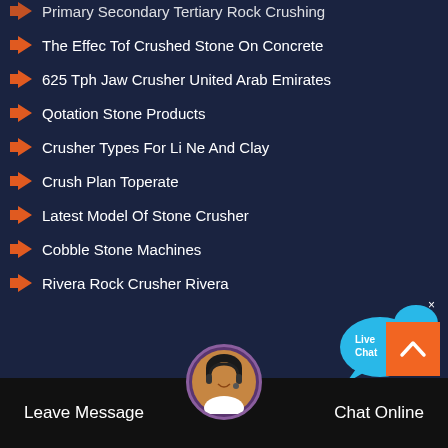Primary Secondary Tertiary Rock Crushing
The Effec Tof Crushed Stone On Concrete
625 Tph Jaw Crusher United Arab Emirates
Qotation Stone Products
Crusher Types For Li Ne And Clay
Crush Plan Toperate
Latest Model Of Stone Crusher
Cobble Stone Machines
Rivera Rock Crusher Rivera
[Figure (illustration): Live Chat bubble widget with blue speech bubbles and 'Live Chat' text, with an X close button]
Leave Message
Chat Online
[Figure (illustration): Customer service avatar - woman with headset in circular purple-bordered frame]
[Figure (illustration): Orange scroll-to-top button with upward-pointing chevron arrow]